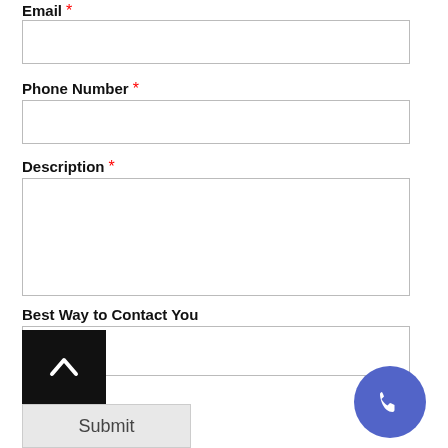Email *
Phone Number *
Description *
Best Way to Contact You
Submit